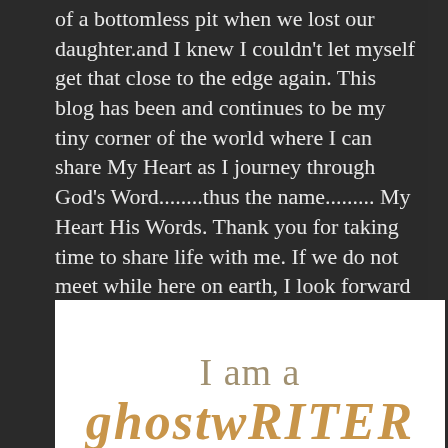of a bottomless pit when we lost our daughter.and I knew I couldn't let myself get that close to the edge again. This blog has been and continues to be my tiny corner of the world where I can share My Heart as I journey through God's Word........thus the name......... My Heart His Words. Thank you for taking time to share life with me. If we do not meet while here on earth, I look forward to hearing all about your life when we reach our final destiny..........Heaven! Email me anytime at tammynischan@yahoo.com and I will reply as soon as I can!
Read More
[Figure (illustration): White background image with text 'I am a' in grey and partially visible golden italic cursive text below (appears to say 'ghostwriter' or similar)]